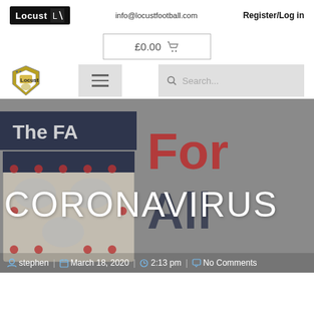[Figure (logo): Locust football logo in black box with text 'Locust' and icon]
info@locustfootball.com
Register/Log in
£0.00 🛒
[Figure (logo): Locust football shield/crest logo with stars]
[Figure (screenshot): Hamburger menu icon button]
[Figure (screenshot): Search box with placeholder text 'Search...']
[Figure (photo): Hero image showing The FA crest (three lions) blurred in background with red text 'FOR ALL' visible. Large white 'CORONAVIRUS' text overlaid on image.]
CORONAVIRUS
stephen | March 18, 2020 | 2:13 pm | No Comments